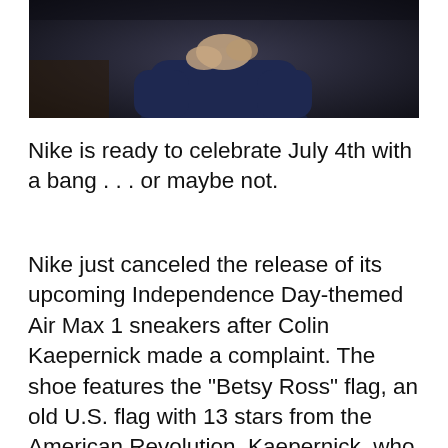[Figure (photo): A person wearing a dark navy long-sleeve shirt with hands clasped near their face, photographed against a dark background.]
Nike is ready to celebrate July 4th with a bang . . . or maybe not.
Nike just canceled the release of its upcoming Independence Day-themed Air Max 1 sneakers after Colin Kaepernick made a complaint. The shoe features the "Betsy Ross" flag, an old U.S. flag with 13 stars from the American Revolution. Kaepernick, who is endorsed by Nike, expressed that he and others found the sneakers offensive and believed it was linked to a period of slavery and injustice.